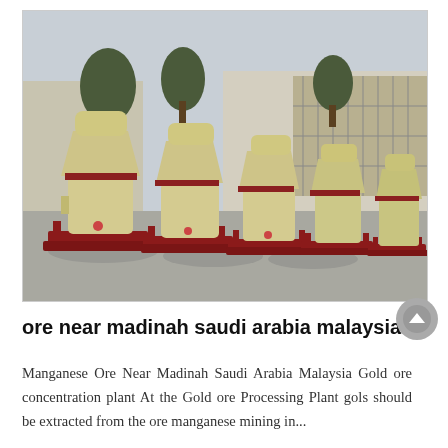[Figure (photo): Outdoor photograph of a row of large cream/beige colored industrial grinding mill machines (Raymond mills or similar) mounted on red metal frames/skids, lined up in a factory yard. Trees and a large building are visible in the background.]
ore near madinah saudi arabia malaysia
Manganese Ore Near Madinah Saudi Arabia Malaysia Gold ore concentration plant At the Gold ore Processing Plant gols should be extracted from the ore manganese mining in...